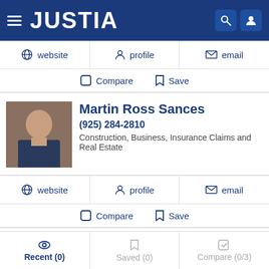JUSTIA
website | profile | email
Compare | Save
Martin Ross Sances
(925) 284-2810
Construction, Business, Insurance Claims and Real Estate
website | profile | email
Compare | Save
Timothy Craig Williams
Recent (0) | Saved (0) | Compare (0/3)